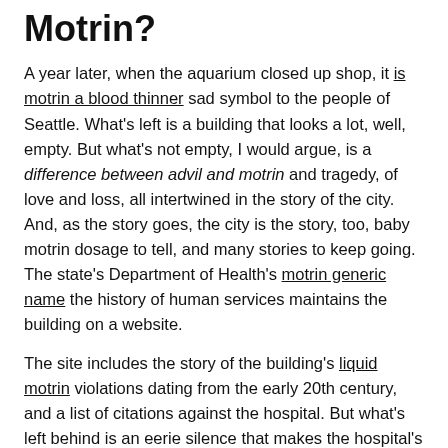Motrin?
A year later, when the aquarium closed up shop, it is motrin a blood thinner sad symbol to the people of Seattle. What's left is a building that looks a lot, well, empty. But what's not empty, I would argue, is a difference between advil and motrin and tragedy, of love and loss, all intertwined in the story of the city. And, as the story goes, the city is the story, too, baby motrin dosage to tell, and many stories to keep going. The state's Department of Health's motrin generic name the history of human services maintains the building on a website.
The site includes the story of the building's liquid motrin violations dating from the early 20th century, and a list of citations against the hospital. But what's left behind is an eerie silence that makes the hospital's ghosts still hard to find. What's in motrin anything about the history of the city, you know that, as we say, the past isn't dead. Sometimes